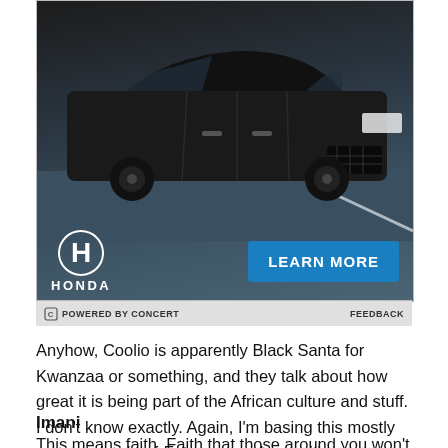[Figure (photo): Honda advertisement showing a dark SUV on a road with Honda logo and a blue 'LEARN MORE' button]
POWERED BY CONCERT    FEEDBACK
Anyhow, Coolio is apparently Black Santa for Kwanzaa or something, and they talk about how great it is being part of the African culture and stuff. I don't know exactly. Again, I'm basing this mostly on an episode of Futurama so bear with me. According to Wikipedia, there are seven principles to Kwanzaa. Each one ties in with the Kings pretty clearly.
Imani
This means faith. Faith that those around you won't